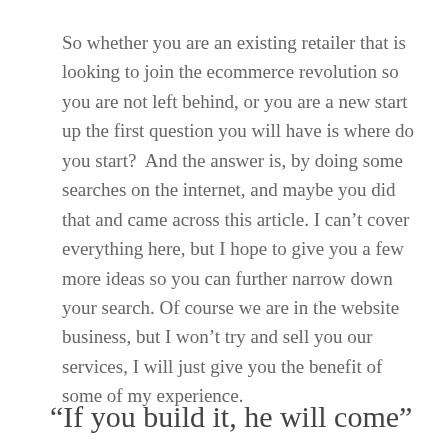So whether you are an existing retailer that is looking to join the ecommerce revolution so you are not left behind, or you are a new start up the first question you will have is where do you start?  And the answer is, by doing some searches on the internet, and maybe you did that and came across this article. I can't cover everything here, but I hope to give you a few more ideas so you can further narrow down your search. Of course we are in the website business, but I won't try and sell you our services, I will just give you the benefit of some of my experience.
“If you build it, he will come”